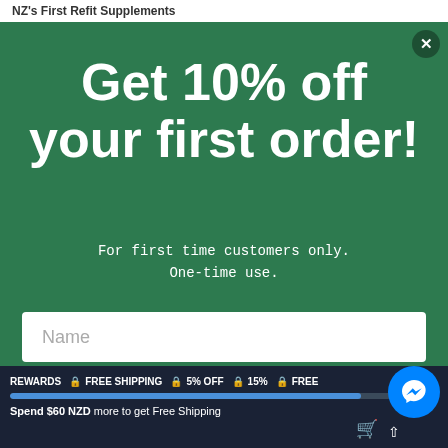NZ's First Refit Supplements
Get 10% off your first order!
For first time customers only.
One-time use.
Name
Email
REWARDS  FREE SHIPPING  5% OFF  15%  FREE
Spend $60 NZD more to get Free Shipping